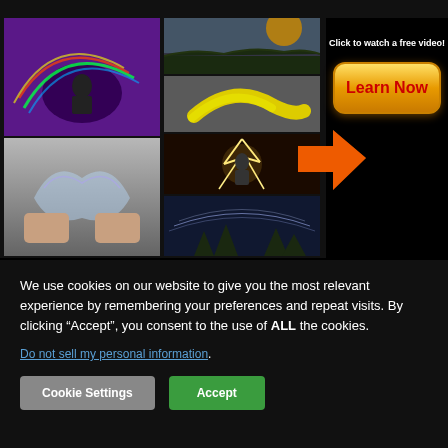Images With Top Secret Photography Tutorials !
[Figure (photo): Photography tutorial website screenshot showing a grid of creative photos including light painting, action shots, banana still life, lightning effects, and star trail images, with a 'Learn Now' button and arrow pointing to it]
Click to watch a free video!
We use cookies on our website to give you the most relevant experience by remembering your preferences and repeat visits. By clicking “Accept”, you consent to the use of ALL the cookies.
Do not sell my personal information.
Cookie Settings
Accept